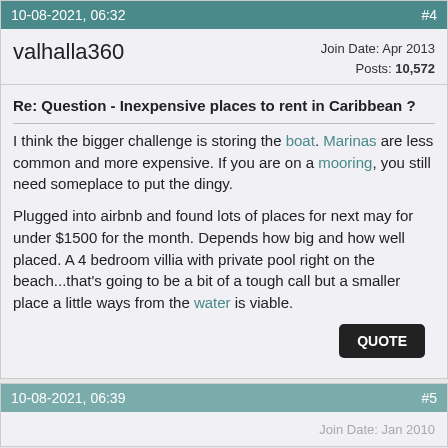10-08-2021, 06:32   #4
valhalla360   Join Date: Apr 2013   Posts: 10,572
Re: Question - Inexpensive places to rent in Caribbean ?
I think the bigger challenge is storing the boat. Marinas are less common and more expensive. If you are on a mooring, you still need someplace to put the dingy.
Plugged into airbnb and found lots of places for next may for under $1500 for the month. Depends how big and how well placed. A 4 bedroom villia with private pool right on the beach...that's going to be a bit of a tough call but a smaller place a little ways from the water is viable.
10-08-2021, 06:39   #5
Join Date: Jan 2010